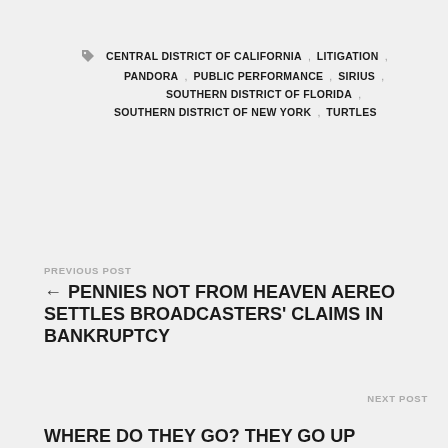CENTRAL DISTRICT OF CALIFORNIA , LITIGATION , PANDORA , PUBLIC PERFORMANCE , SIRIUS , SOUTHERN DISTRICT OF FLORIDA , SOUTHERN DISTRICT OF NEW YORK , TURTLES
PREVIOUS POST
← PENNIES NOT FROM HEAVEN AEREO SETTLES BROADCASTERS' CLAIMS IN BANKRUPTCY
NEXT POST
WHERE DO THEY GO? THEY GO UP